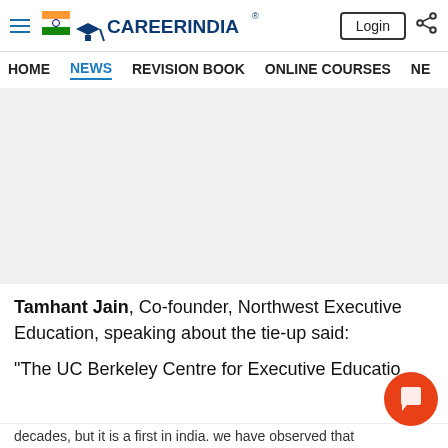[Figure (logo): CareerIndia logo with Indian flag and graduation cap icon]
HOME  NEWS  REVISION BOOK  ONLINE COURSES  NE
[Figure (other): Grey advertisement/banner area]
Tamhant Jain, Co-founder, Northwest Executive Education, speaking about the tie-up said:
"The UC Berkeley Centre for Executive Educatio
decades, but it is a first in India. We have observed that